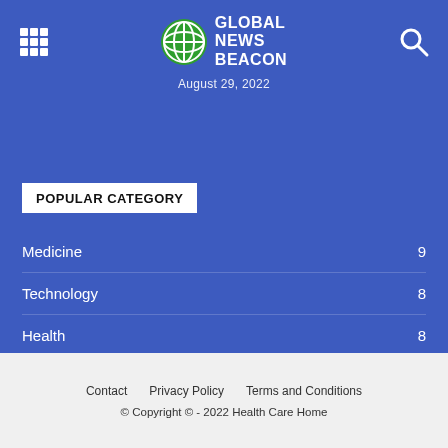GLOBAL NEWS BEACON — August 29, 2022
POPULAR CATEGORY
Medicine 9
Technology 8
Health 8
Food 7
News 5
Contact   Privacy Policy   Terms and Conditions
© Copyright © - 2022 Health Care Home